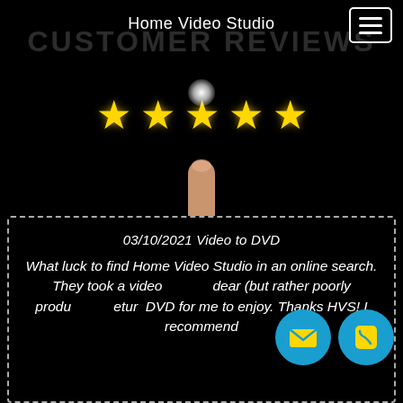Home Video Studio
CUSTOMER REVIEWS
[Figure (photo): A hand pointing index finger upward touching a glowing spot, with five yellow stars displayed above the fingertip, against a black background.]
03/10/2021 Video to DVD

What luck to find Home Video Studio in an online search. They took a video of a dear (but rather poorly produced) return DVD for me to enjoy. Thanks HVS! I recommend